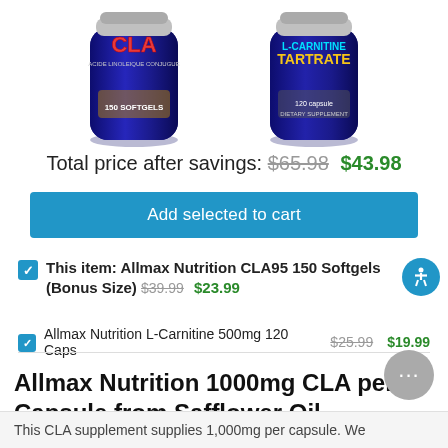[Figure (photo): Two supplement product bottles: Allmax CLA on the left and L-Carnitine Tartrate on the right]
Total price after savings: $65.98 $43.98
Add selected to cart
This item: Allmax Nutrition CLA95 150 Softgels (Bonus Size) $39.99 $23.99
Allmax Nutrition L-Carnitine 500mg 120 Caps $25.99 $19.99
Allmax Nutrition 1000mg CLA per Capsule from Safflower Oil
This CLA supplement supplies 1,000mg per capsule. We